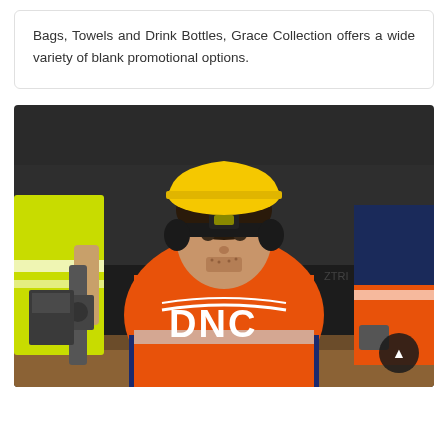Bags, Towels and Drink Bottles, Grace Collection offers a wide variety of blank promotional options.
[Figure (photo): Construction workers on a job site. Central figure is a male worker wearing an orange high-visibility DNC-branded shirt, yellow hard hat, and ear protection/headlamp. He is looking directly at the camera. In the background to the left is another worker in a lime green hi-vis jacket, and to the right is a worker in an orange hi-vis shirt with navy sleeves. The word 'DNC' is prominently displayed in large white letters on the central figure's shirt. A dark circular scroll-to-top button is visible in the lower right corner.]